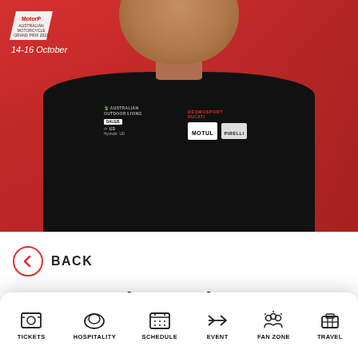[Figure (photo): Man wearing black Desmosport Ducati team polo shirt with logos (Motul, Pirelli, Australian Outdoor Living, etc.) against a red background. MotoGP Australian Motorcycle Grand Prix 2023 logo and date '14-16 October' shown in top left.]
BACK
Brent Stephens: The Doctor was a cl...
[Figure (infographic): Bottom navigation bar with icons and labels: TICKETS, HOSPITALITY, SCHEDULE, EVENT, FAN ZONE, TRAVEL]